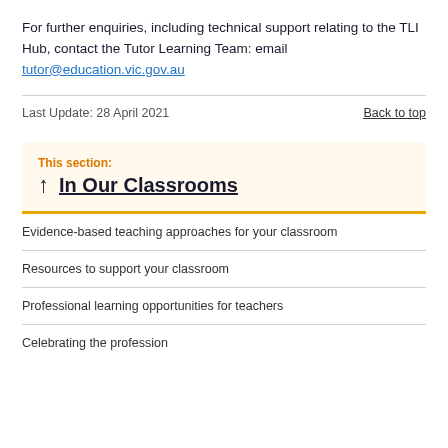For further enquiries, including technical support relating to the TLI Hub, contact the Tutor Learning Team: email tutor@education.vic.gov.au
Last Update: 28 April 2021
Back to top
This section:
In Our Classrooms
Evidence-based teaching approaches for your classroom
Resources to support your classroom
Professional learning opportunities for teachers
Celebrating the profession